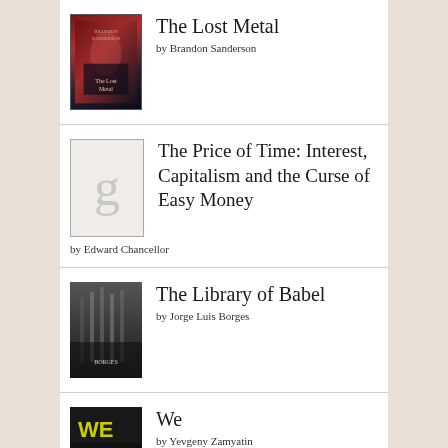The Lost Metal by Brandon Sanderson
The Price of Time: Interest, Capitalism and the Curse of Easy Money by Edward Chancellor
The Library of Babel by Jorge Luis Borges
We by Yevgeny Zamyatin
[Figure (logo): goodreads logo with rounded rectangle border]